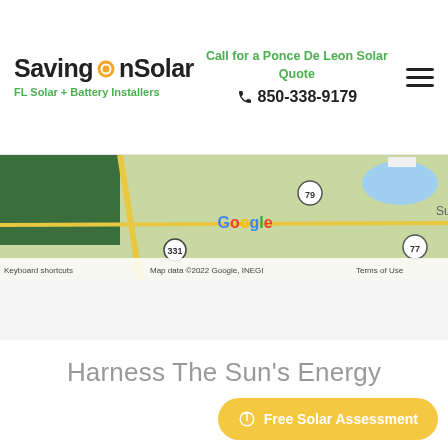Saving On Solar — FL Solar + Battery Installers
Call for a Ponce De Leon Solar Quote
850-338-9179
[Figure (map): Google Maps screenshot showing Ponce De Leon area with route markers 331, 79, 77 and labels 'Keyboard shortcuts', 'Map data ©2022 Google, INEGI', 'Terms of Use']
Harness The Sun's Energy
Free Solar Assessment